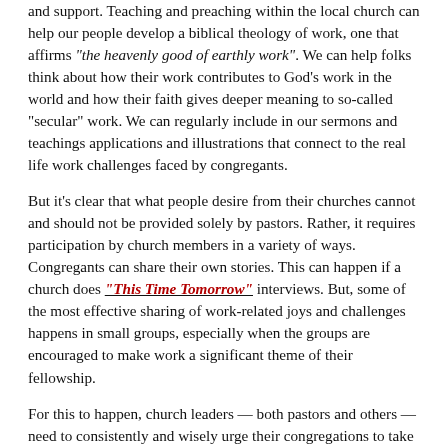and support. Teaching and preaching within the local church can help our people develop a biblical theology of work, one that affirms "the heavenly good of earthly work". We can help folks think about how their work contributes to God's work in the world and how their faith gives deeper meaning to so-called "secular" work. We can regularly include in our sermons and teachings applications and illustrations that connect to the real life work challenges faced by congregants.
But it's clear that what people desire from their churches cannot and should not be provided solely by pastors. Rather, it requires participation by church members in a variety of ways. Congregants can share their own stories. This can happen if a church does "This Time Tomorrow" interviews. But, some of the most effective sharing of work-related joys and challenges happens in small groups, especially when the groups are encouraged to make work a significant theme of their fellowship.
For this to happen, church leaders — both pastors and others — need to consistently and wisely urge their congregations to take work seriously as an essential element of Christian discipleship and worship. Yes, preaching about the importance of work can make a difference. But there is so much more that